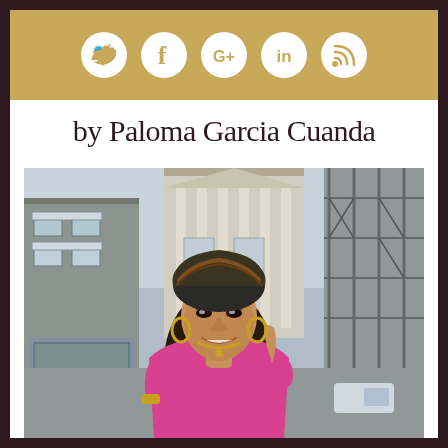[Figure (infographic): Header banner in gold/tan color with five social media icons in white circles: Twitter (bird), Facebook (f), Google+ (G+), LinkedIn (in), RSS feed symbol]
by Paloma Garcia Cuanda
[Figure (photo): Street fashion photo of a woman wearing a pink blazer/outfit with a dark patterned headscarf, gold hoop earrings, and a gold chain necklace. She is smiling and posing on an urban street with buildings and scaffolding in the background.]